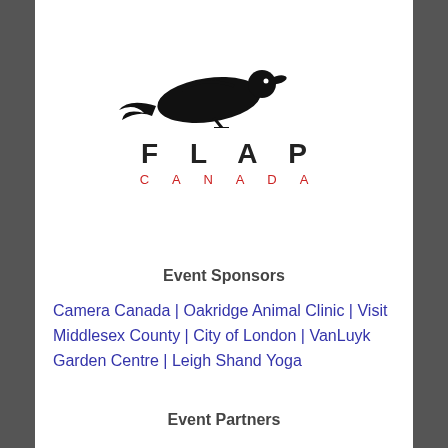[Figure (logo): FLAP Canada logo — silhouette of a bird lying on its side with the text 'FLAP' in large spaced black letters and 'CANADA' in red spaced letters below]
Event Sponsors
Camera Canada | Oakridge Animal Clinic | Visit Middlesex County | City of London | VanLuyk Garden Centre | Leigh Shand Yoga
Event Partners